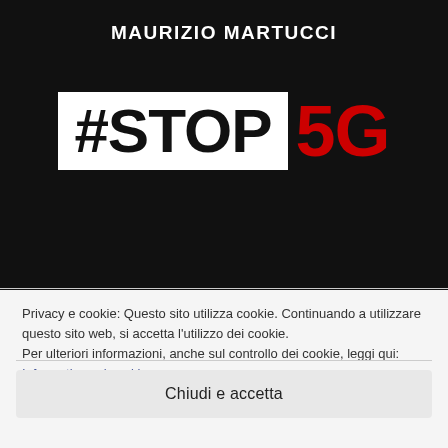MAURIZIO MARTUCCI
[Figure (logo): #STOP 5G logo with white box containing #STOP in black and 5G in red on black background]
Privacy e cookie: Questo sito utilizza cookie. Continuando a utilizzare questo sito web, si accetta l'utilizzo dei cookie.
Per ulteriori informazioni, anche sul controllo dei cookie, leggi qui:
Informativa sui cookie
Chiudi e accetta